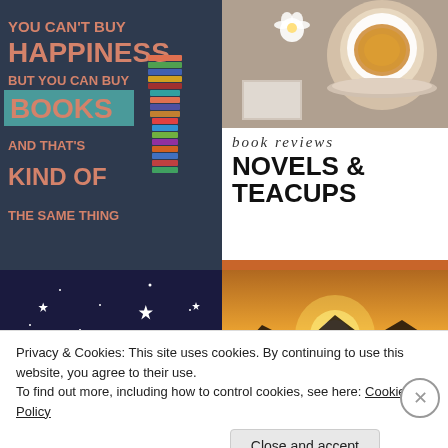[Figure (illustration): Motivational quote graphic on dark background: 'You can't buy happiness but you can buy books and that's kind of the same thing' with stack of colorful books]
[Figure (photo): Overhead photo of a cup of tea with a white daisy flower on a grey surface]
book reviews
NOVELS & TEACUPS
[Figure (photo): Night sky with sparkle stars, partial text READING visible at bottom]
[Figure (photo): Sunset landscape with glowing sun behind mountains in orange and yellow tones]
Privacy & Cookies: This site uses cookies. By continuing to use this website, you agree to their use.
To find out more, including how to control cookies, see here: Cookie Policy
Close and accept